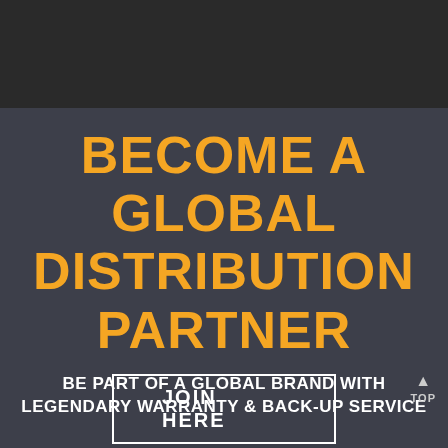BECOME A GLOBAL DISTRIBUTION PARTNER
BE PART OF A GLOBAL BRAND WITH LEGENDARY WARRANTY & BACK-UP SERVICE
TOP
JOIN HERE